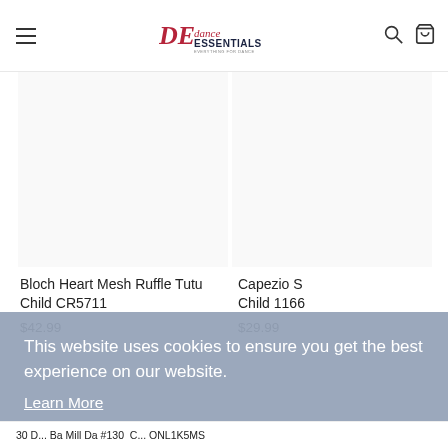Dance Essentials - Everything for Dance (navigation header with logo, hamburger menu, search and cart icons)
Bloch Heart Mesh Ruffle Tutu Child CR5711
$42.99
Capezio S Child 1166
$29.99
This website uses cookies to ensure you get the best experience on our website.
Learn More
[Figure (logo): Dance Essentials logo with cursive DE monogram and text 'danceESSENTIALS EVERYTHING FOR DANCE.' in dark and maroon colors]
Got it!
30 D... Ba Mill Da #130  C... ONL1K5MS